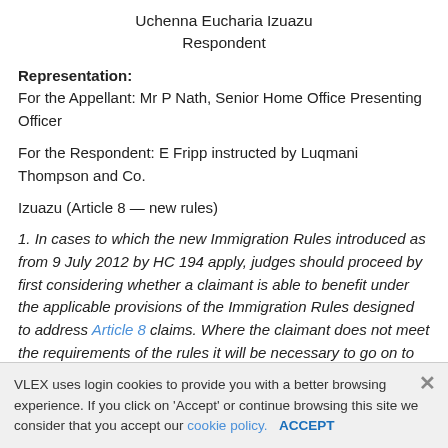Uchenna Eucharia Izuazu
Respondent
Representation:
For the Appellant: Mr P Nath, Senior Home Office Presenting Officer
For the Respondent: E Fripp instructed by Luqmani Thompson and Co.
Izuazu (Article 8 — new rules)
1. In cases to which the new Immigration Rules introduced as from 9 July 2012 by HC 194 apply, judges should proceed by first considering whether a claimant is able to benefit under the applicable provisions of the Immigration Rules designed to address Article 8 claims. Where the claimant does not meet the requirements of the rules it will be necessary to go on to make an assessment of Article 8 applying the criteria established by law.
VLEX uses login cookies to provide you with a better browsing experience. If you click on 'Accept' or continue browsing this site we consider that you accept our cookie policy. ACCEPT